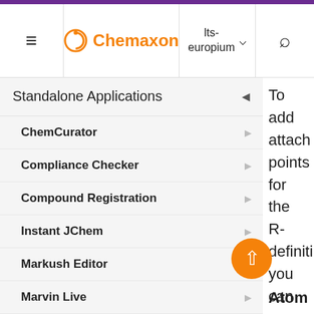Chemaxon | lts-europium
Standalone Applications
ChemCurator
Compliance Checker
Compound Registration
Instant JChem
Markush Editor
Marvin Live
MarvinSketch
Introduction to MarvinSketch
To add attach points for the R-definiti you can e enu Atom